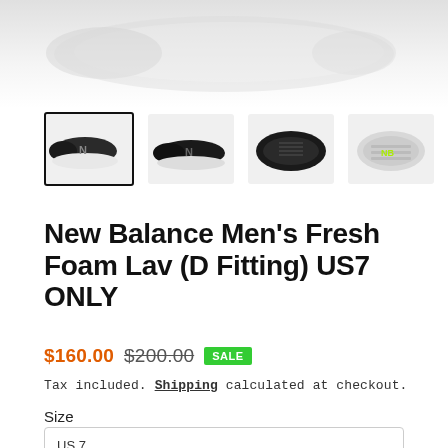[Figure (photo): Top portion of a white/grey New Balance tennis shoe, showing the toe and body of the shoe from above, fading into white background.]
[Figure (photo): Row of four thumbnail images of New Balance Fresh Foam Lav tennis shoes: (1) side view black/grey shoe with white sole - selected/highlighted; (2) side view black shoe; (3) top-down view of black shoe; (4) bottom/sole view of shoe with yellow New Balance logo.]
New Balance Men's Fresh Foam Lav (D Fitting) US7 ONLY
$160.00  $200.00  SALE
Tax included. Shipping calculated at checkout.
Size
US 7